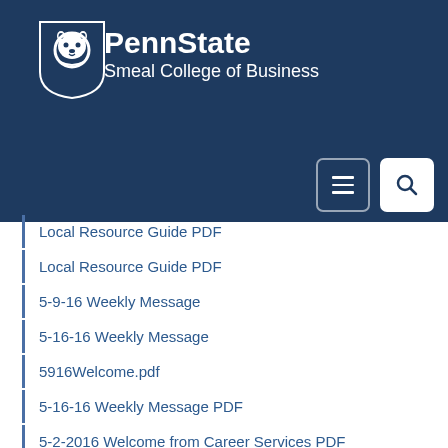PennState Smeal College of Business
Local Resource Guide PDF
Local Resource Guide PDF
5-9-16 Weekly Message
5-16-16 Weekly Message
5916Welcome.pdf
5-16-16 Weekly Message PDF
5-2-2016 Welcome from Career Services PDF
Orientation Expectations PDF
Football Tickets and Global Lion Gathering PDF